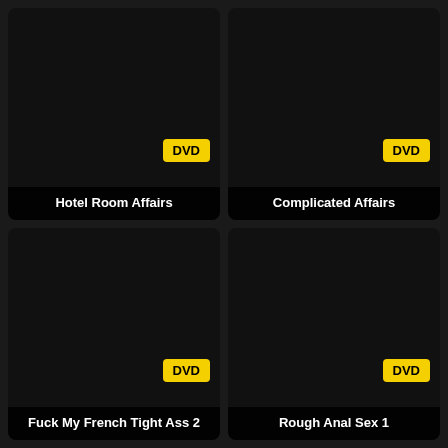Hotel Room Affairs
DVD
Complicated Affairs
DVD
Fuck My French Tight Ass 2
DVD
Rough Anal Sex 1
DVD